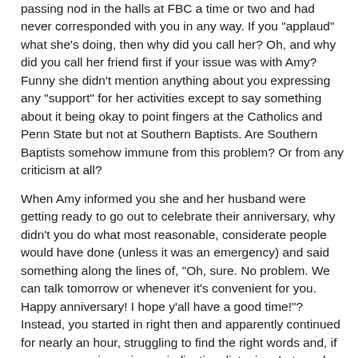passing nod in the halls at FBC a time or two and had never corresponded with you in any way. If you "applaud" what she's doing, then why did you call her? Oh, and why did you call her friend first if your issue was with Amy? Funny she didn't mention anything about you expressing any "support" for her activities except to say something about it being okay to point fingers at the Catholics and Penn State but not at Southern Baptists. Are Southern Baptists somehow immune from this problem? Or from any criticism at all?
When Amy informed you she and her husband were getting ready to go out to celebrate their anniversary, why didn't you do what most reasonable, considerate people would have done (unless it was an emergency) and said something along the lines of, "Oh, sure. No problem. We can talk tomorrow or whenever it's convenient for you. Happy anniversary! I hope y'all have a good time!"? Instead, you started in right then and apparently continued for nearly an hour, struggling to find the right words and, if my own experience is any indication, listening. Lots and lots of listening. I bet you got an earful you weren't bargaining for, Doug!